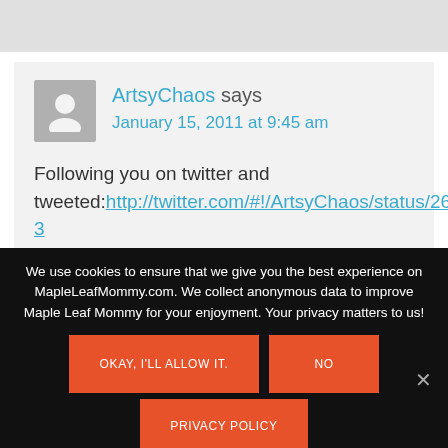[Figure (screenshot): Top grey navigation/header bar partially visible]
ArtsyChaos says
January 15, 2011 at 9:45 am

Following you on twitter and tweeted:http://twitter.com/#!/ArtsyChaos/status/26... at yahoo dot com
We use cookies to ensure that we give you the best experience on MapleLeafMommy.com. We collect anonymous data to improve Maple Leaf Mommy for your enjoyment. Your privacy matters to us!
OKAY, I'LL ALLOW IT.
NO
PRIVACY POLICY